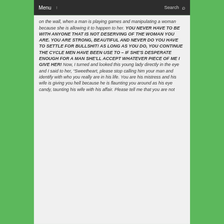Menu  Search
on the wall, when a man is playing games and manipulating a woman because she is allowing it to happen to her. YOU NEVER HAVE TO BE WITH ANYONE THAT IS NOT DESERVING OF THE WOMAN YOU ARE. YOU ARE STRONG, BEAUTIFUL AND NEVER DO YOU HAVE TO SETTLE FOR BULLSHIT! AS LONG AS YOU DO, YOU CONTINUE THE CYCLE MEN HAVE BEEN USE TO – IF SHE'S DESPERATE ENOUGH FOR A MAN SHE'LL ACCEPT WHATEVER PIECE OF ME I GIVE HER! Now, I turned and looked this young lady directly in the eye and I said to her, “Sweetheart, please stop calling him your man and identify with who you really are in his life. You are his mistress and his wife is giving you hell because he is flaunting you around as his eye candy, taunting his wife with his affair. Please tell me that you are not